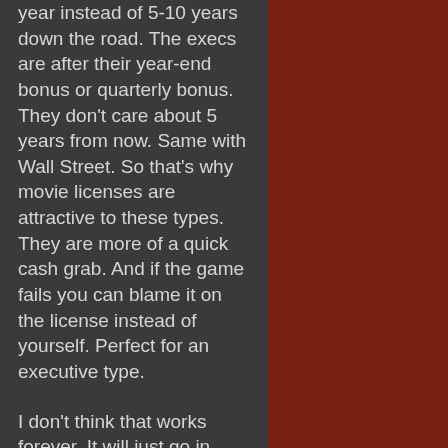year instead of 5-10 years down the road. The execs are after their year-end bonus or quarterly bonus. They don't care about 5 years from now. Same with Wall Street. So that's why movie licenses are attractive to these types. They are more of a quick cash grab. And if the game fails you can blame it on the license instead of yourself. Perfect for an executive type.
I don't think that works forever. It will just go in cycles. Folks will get tired of the license crap. They will see through it. Then the publishers go away from it . But they'll be